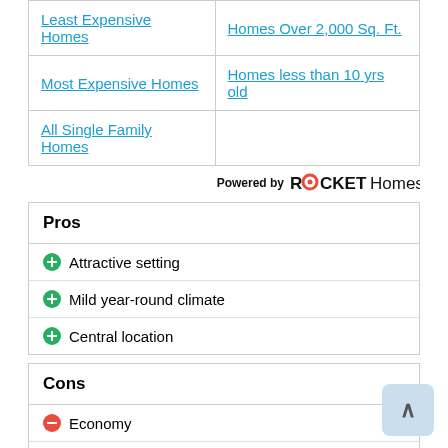| Col1 | Col2 |
| --- | --- |
| Least Expensive Homes | Homes Over 2,000 Sq. Ft. |
| Most Expensive Homes | Homes less than 10 yrs old |
| All Single Family Homes |  |
Powered by ROCKET Homes
Pros
Attractive setting
Mild year-round climate
Central location
Cons
Economy
Some unattractive sprawl
Property crime rate